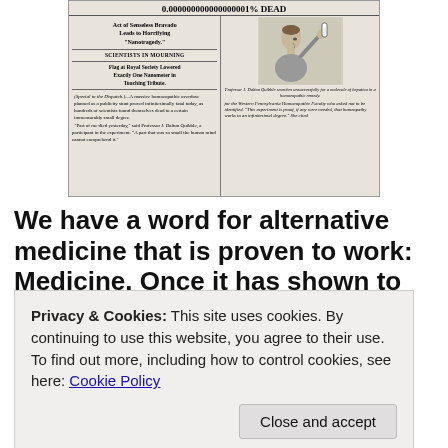[Figure (illustration): Parody newspaper clipping about homeopathic overdose. Headline: '0.000000000000000001% DEAD'. Sub-headlines: 'Act of Senseless Bravado Leads to Horrifying Nanotragedy.', 'SCIENTISTS IN MOURNING', 'Flag at Royal Society Lowered Exactly One Nanometer in Touching Tribute.' Includes illustration of Professor J. Dalton Quibble examining a vial, with article text about a homeopathic overdose publicity stunt.]
We have a word for alternative medicine that is proven to work: Medicine. Once it has shown to be effective in double blind studies and passes critical peer review, the
Privacy & Cookies: This site uses cookies. By continuing to use this website, you agree to their use. To find out more, including how to control cookies, see here: Cookie Policy
Close and accept
had pure motives. Leeches were among the medicines of